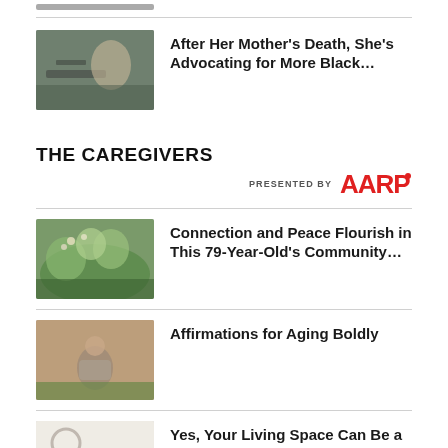[Figure (photo): Partial thumbnail image at top (cropped)]
After Her Mother's Death, She's Advocating for More Black…
THE CAREGIVERS
PRESENTED BY AARP
[Figure (photo): Herb garden / plants photo]
Connection and Peace Flourish in This 79-Year-Old's Community…
[Figure (photo): Man sitting outdoors on bench]
Affirmations for Aging Boldly
[Figure (photo): Minimalist living room interior with plant]
Yes, Your Living Space Can Be a Source of Comfort and Peace